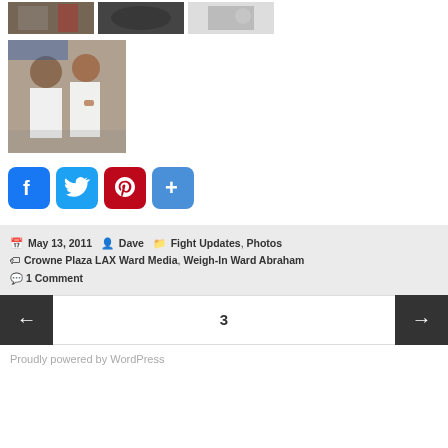[Figure (photo): Three small photo thumbnails in a row showing boxing event scenes]
[Figure (photo): Larger photo of two men posing together, one in white shirt giving thumbs up, at boxing event]
[Figure (other): Social sharing buttons: Facebook, Twitter, Pinterest, and Share (+)]
May 13, 2011  Dave  Fight Updates, Photos  Crowne Plaza LAX Ward Media, Weigh-In Ward Abraham  1 Comment
3
Proudly powered by WordPress